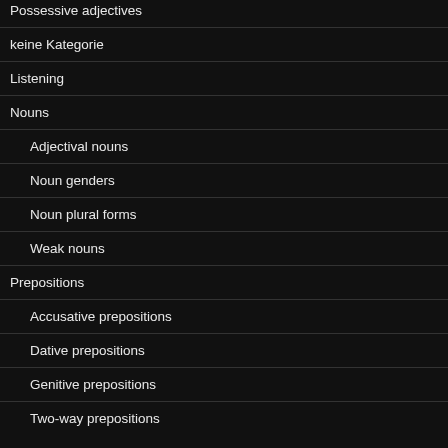Possessive adjectives
keine Kategorie
Listening
Nouns
Adjectival nouns
Noun genders
Noun plural forms
Weak nouns
Prepositions
Accusative prepositions
Dative prepositions
Genitive prepositions
Two-way prepositions